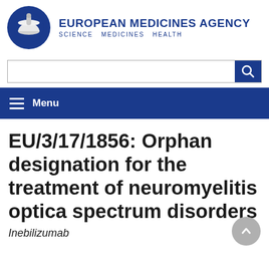[Figure (logo): European Medicines Agency logo: blue circle with stylized mortar and pestle icon, beside text 'EUROPEAN MEDICINES AGENCY' and tagline 'SCIENCE MEDICINES HEALTH']
[Figure (screenshot): Website search bar with blue search button on the right]
[Figure (screenshot): Dark blue navigation menu bar with hamburger icon and 'Menu' text]
EU/3/17/1856: Orphan designation for the treatment of neuromyelitis optica spectrum disorders
Inebilizumab